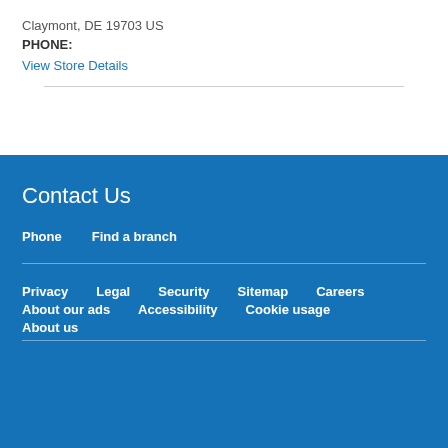Claymont, DE 19703 US
PHONE:
View Store Details
Contact Us
Phone
Find a branch
Privacy
Legal
Security
Sitemap
Careers
About our ads
Accessibility
Cookie usage
About us